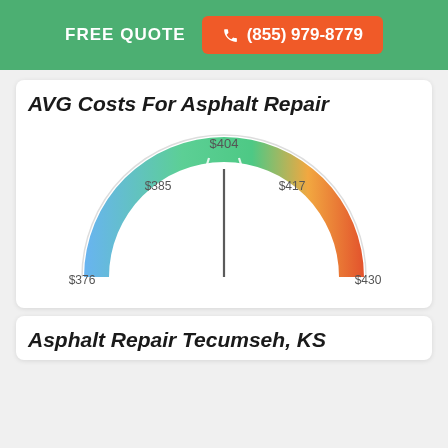FREE QUOTE  ☎ (855) 979-8779
AVG Costs For Asphalt Repair
[Figure (other): Semicircular gauge/speedometer chart showing average asphalt repair cost range from $376 (left, blue) to $430 (right, red/orange), with $385, $404 (top center), and $417 labeled. Gradient goes from blue on the left through green in the middle to orange/red on the right. A needle points to center-top area (~$404).]
Asphalt Repair Tecumseh, KS